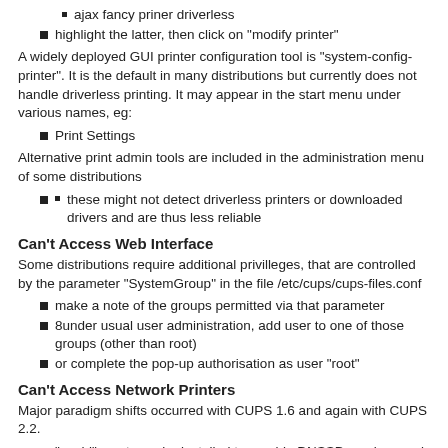ajax fancy priner driverless
highlight the latter, then click on "modify printer"
A widely deployed GUI printer configuration tool is "system-config-printer". It is the default in many distributions but currently does not handle driverless printing. It may appear in the start menu under various names, eg:
Print Settings
Alternative print admin tools are included in the administration menu of some distributions
these might not detect driverless printers or downloaded drivers and are thus less reliable
Can't Access Web Interface
Some distributions require additional privilleges, that are controlled by the parameter "SystemGroup" in the file /etc/cups/cups-files.conf
make a note of the groups permitted via that parameter
8under usual user administration, add user to one of those groups (other than root)
or complete the pop-up authorisation as user "root"
Can't Access Network Printers
Major paradigm shifts occurred with CUPS 1.6 and again with CUPS 2.2.
"avahi" must now be installed to provide DNSSD services and find network printers or print servers
it must also be installed on computers that are operating as print servers